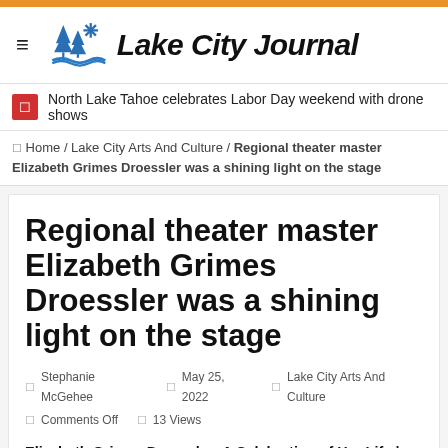[Figure (logo): Lake City Journal logo with pine trees and water icon, italic bold text]
North Lake Tahoe celebrates Labor Day weekend with drone shows
☐ Home / Lake City Arts And Culture / Regional theater master Elizabeth Grimes Droessler was a shining light on the stage
Regional theater master Elizabeth Grimes Droessler was a shining light on the stage
Stephanie McGehee   May 25, 2022   Lake City Arts And Culture   Comments Off   13 Views
Elizabeth Grimes Droessler: A Celebration of Her Life | McIver Amphitheater at Meredith College, Raleigh | Monday, June 6, 5 p.m